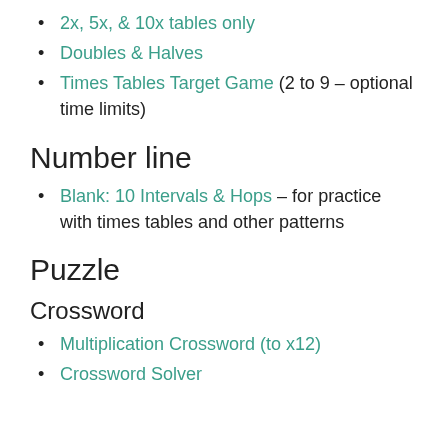2x, 5x, & 10x tables only
Doubles & Halves
Times Tables Target Game (2 to 9 – optional time limits)
Number line
Blank: 10 Intervals & Hops – for practice with times tables and other patterns
Puzzle
Crossword
Multiplication Crossword (to x12)
Crossword Solver